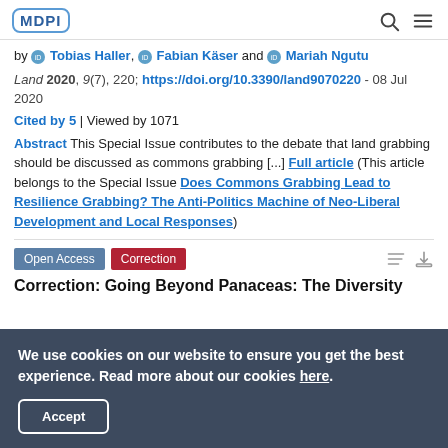MDPI [logo] | search icon | menu icon
by Tobias Haller, Fabian Käser and Mariah Ngutu
Land 2020, 9(7), 220; https://doi.org/10.3390/land9070220 - 08 Jul 2020
Cited by 5 | Viewed by 1071
Abstract This Special Issue contributes to the debate that land grabbing should be discussed as commons grabbing [...] Full article (This article belongs to the Special Issue Does Commons Grabbing Lead to Resilience Grabbing? The Anti-Politics Machine of Neo-Liberal Development and Local Responses)
Open Access   Correction
Correction: Going Beyond Panaceas: The Diversity
We use cookies on our website to ensure you get the best experience. Read more about our cookies here.
Accept